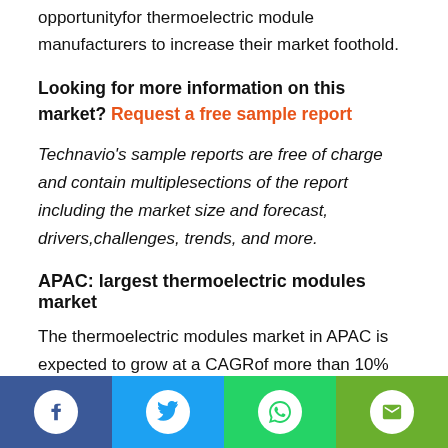opportunity for thermoelectric module manufacturers to increase their market foothold.
Looking for more information on this market? Request a free sample report
Technavio's sample reports are free of charge and contain multiple sections of the report including the market size and forecast, drivers, challenges, trends, and more.
APAC: largest thermoelectric modules market
The thermoelectric modules market in APAC is expected to grow at a CAGR of more than 10% during the forecast period. IR thermography in the region is driven by